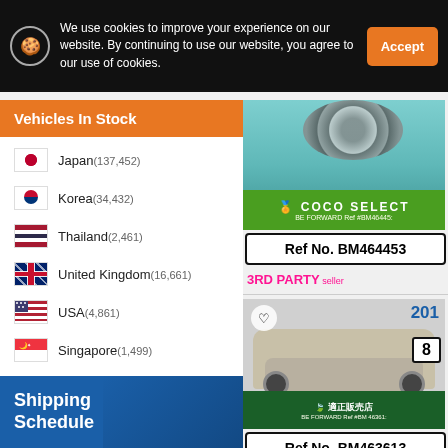We use cookies to improve your experience on our website. By continuing to use our website, you agree to our use of cookies.
Accept
Vehicles In Stock
Japan(137,452)
Korea(34,432)
Thailand(2,461)
United Kingdom(16,661)
USA(4,861)
Singapore(1,499)
UAE(2,027)
[Figure (photo): Car listing photo with COCO SELECT banner, green background]
Ref No. BM464453
3RD PARTY seller
[Figure (photo): Small beige/silver hatchback car photo with 適正販売店 dealer banner]
Ref No. BM463613
3RD PARTY ...
Shipping Schedule